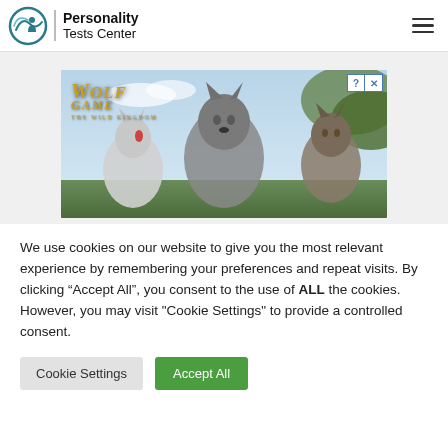Personality Tests Center
[Figure (photo): Wolf Game: The Wild Kingdom advertisement banner showing three wolves — a large grey wolf in the center, a white wolf on the left, and a brown wolf on the right — against a sky background. Gold text reads 'WOLF GAME' and 'THE WILD KINGDOM'.]
We use cookies on our website to give you the most relevant experience by remembering your preferences and repeat visits. By clicking “Accept All”, you consent to the use of ALL the cookies. However, you may visit "Cookie Settings" to provide a controlled consent.